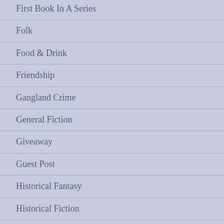First Book In A Series
Folk
Food & Drink
Friendship
Gangland Crime
General Fiction
Giveaway
Guest Post
Historical Fantasy
Historical Fiction
Historical Romance